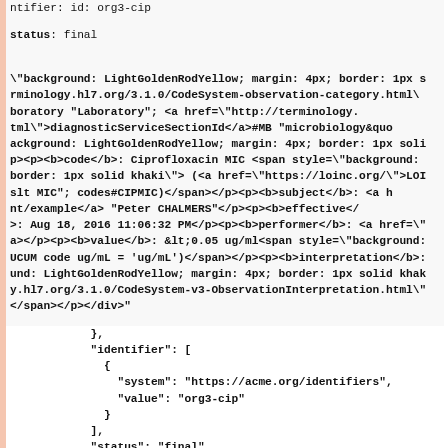ntifier</b>: id: org3-cip</p><p><b>status</b>: final</p><p><b>\"background: LightGoldenRodYellow; margin: 4px; border: 1px srminology.hl7.org/3.1.0/CodeSystem-observation-category.html\boratory &quot;Laboratory&quot;; <a href=\"http://terminology.tml\">diagnosticServiceSectionId</a>#MB &quot;microbiology&quoackground: LightGoldenRodYellow; margin: 4px; border: 1px solip><p><b>code</b>: Ciprofloxacin MIC <span style=\"background:border: 1px solid khaki\"> (<a href=\"https://loinc.org/\">LOIslt MIC&quot;; codes#CIPMIC)</span></p><p><b>subject</b>: <a hnt/example</a> &quot;Peter CHALMERS&quot;</p><p><b>effective</>: Aug 18, 2016 11:06:32 PM</p><p><b>performer</b>: <a href=\"a></p><p><b>value</b>: &lt;0.05 ug/ml<span style=\"background:UCUM code ug/mL = 'ug/mL')</span></p><p><b>interpretation</b>:und: LightGoldenRodYellow; margin: 4px; border: 1px solid khaky.hl7.org/3.1.0/CodeSystem-v3-ObservationInterpretation.html\"</span></p></div>"
},
            "identifier": [
              {
                "system": "https://acme.org/identifiers",
                "value": "org3-cip"
              }
            ],
            "status": "final",
            "category": [
              {
                "coding": [
                  {
                    "system": "http://terminology.hl7.org/CodeSyst